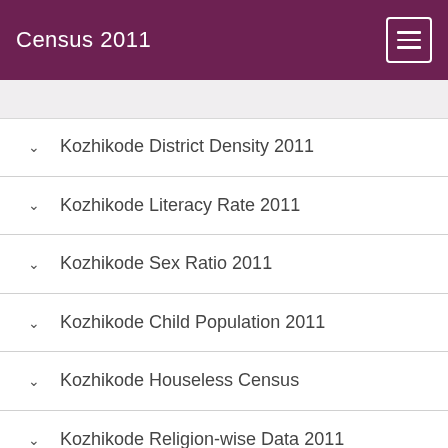Census 2011
Kozhikode District Density 2011
Kozhikode Literacy Rate 2011
Kozhikode Sex Ratio 2011
Kozhikode Child Population 2011
Kozhikode Houseless Census
Kozhikode Religion-wise Data 2011